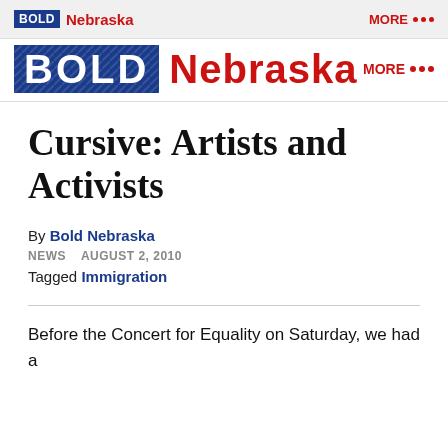BOLD Nebraska  MORE ...
[Figure (logo): Bold Nebraska logo with large blue BOLD box and red Nebraska text]
Cursive: Artists and Activists
By Bold Nebraska
NEWS  AUGUST 2, 2010
Tagged Immigration
Before the Concert for Equality on Saturday, we had a